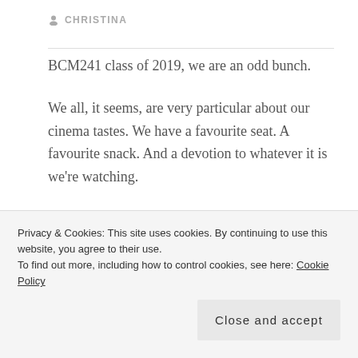CHRISTINA
BCM241 class of 2019, we are an odd bunch.
We all, it seems, are very particular about our cinema tastes. We have a favourite seat. A favourite snack. And a devotion to whatever it is we’re watching.
We hate talkers. We’re afraid to crunch on food out loud. And we have no qualms with getting up and
Privacy & Cookies: This site uses cookies. By continuing to use this website, you agree to their use.
To find out more, including how to control cookies, see here: Cookie Policy
Close and accept
Hagerstrand’s (1969) constraints of coupling,